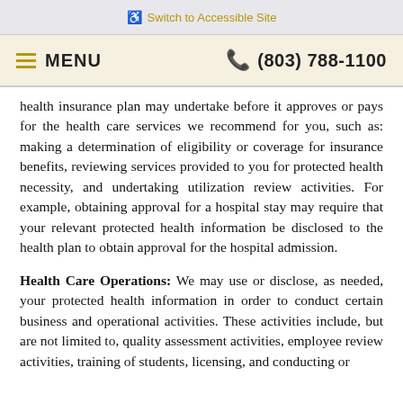Switch to Accessible Site
MENU  (803) 788-1100
health insurance plan may undertake before it approves or pays for the health care services we recommend for you, such as: making a determination of eligibility or coverage for insurance benefits, reviewing services provided to you for protected health necessity, and undertaking utilization review activities. For example, obtaining approval for a hospital stay may require that your relevant protected health information be disclosed to the health plan to obtain approval for the hospital admission.
Health Care Operations: We may use or disclose, as needed, your protected health information in order to conduct certain business and operational activities. These activities include, but are not limited to, quality assessment activities, employee review activities, training of students, licensing, and conducting or